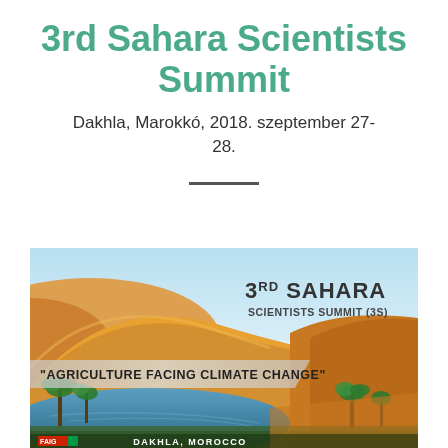3rd Sahara Scientists Summit
Dakhla, Marokkó, 2018. szeptember 27-28.
[Figure (photo): Promotional banner for the 3rd Sahara Scientists Summit (3S) showing Saharan desert landscape with sand dunes, an oasis with water and palm trees. Text overlay reads: '3RD SAHARA SCIENTISTS SUMMIT (3S)' and '"AGRICULTURE FACING CLIMATE CHANGE"'. Bottom shows FAIG logo and 'DAKHLA, MOROCCO'.]